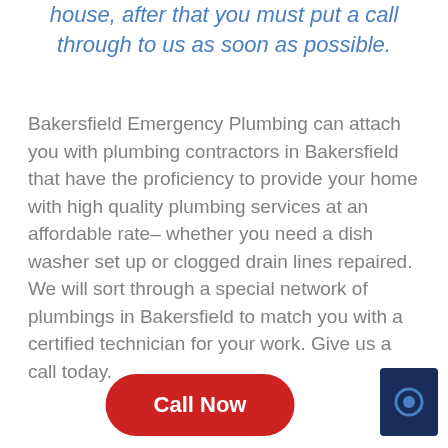house, after that you must put a call through to us as soon as possible.
Bakersfield Emergency Plumbing can attach you with plumbing contractors in Bakersfield that have the proficiency to provide your home with high quality plumbing services at an affordable rate– whether you need a dish washer set up or clogged drain lines repaired. We will sort through a special network of plumbings in Bakersfield to match you with a certified technician for your work. Give us a call today.
[Figure (other): Red 'Call Now' button and a dark blue square icon button with a circle/settings symbol]